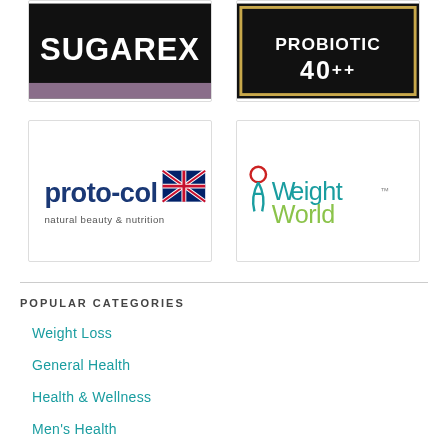[Figure (logo): SUGAREX logo – white bold text on black background with purple/mauve band at bottom]
[Figure (logo): PROBIOTIC 40++ logo – white bold text on black background with gold border]
[Figure (logo): proto-col natural beauty & nutrition logo with UK flag]
[Figure (logo): WeightWorld logo with person figure and green/blue text]
POPULAR CATEGORIES
Weight Loss
General Health
Health & Wellness
Men's Health